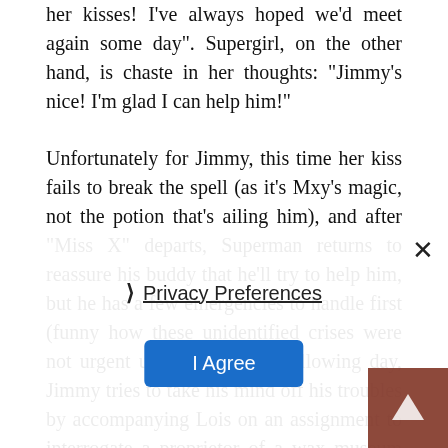her kisses! I've always hoped we'd meet again some day". Supergirl, on the other hand, is chaste in her thoughts: "Jimmy's nice! I'm glad I can help him!"
Unfortunately for Jimmy, this time her kiss fails to break the spell (as it's Mxy's magic, not the potion that's ailing him), and after "Miss X" departs, Superman returns to reassure his buddy that he'll try to help him, but he has a few emergencies to handle first (funny how these unidentified crises were not urgent until now!). The following day, Jimmy tries to take his mind off his troubles by accompanying Lois on an assignment to interrogate a proprietor of a wax museum on the whereabouts of a criminal known to associate with him. This criminal is none too swift, as he gets the brilliant notion of hiding out by imitating one of the wax images, and even Olsen is able to see through his "disguise" immediately as everyone knows "wax figures don't sweat!" Lois is grateful for the assist, and that night, as Ji... er back to the Daily Planet office, when Lois... m undergo the w... transformation, she pities ... fers up a kiss to break the spell. But even Superman's cal... t strong...
[Figure (screenshot): Cookie/privacy consent overlay with close button (×), Privacy Preferences link with chevron, I Agree blue button, and dark red corner element with arrow]